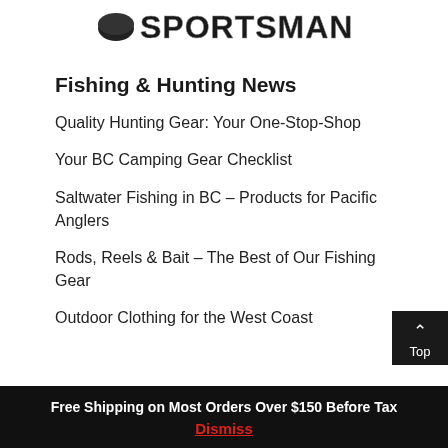[Figure (logo): SPORTSMAN logo text in bold outlined letters with a hockey puck graphic]
Fishing & Hunting News
Quality Hunting Gear: Your One-Stop-Shop
Your BC Camping Gear Checklist
Saltwater Fishing in BC – Products for Pacific Anglers
Rods, Reels & Bait – The Best of Our Fishing Gear
Outdoor Clothing for the West Coast
Free Shipping on Most Orders Over $150 Before Tax  Dismiss